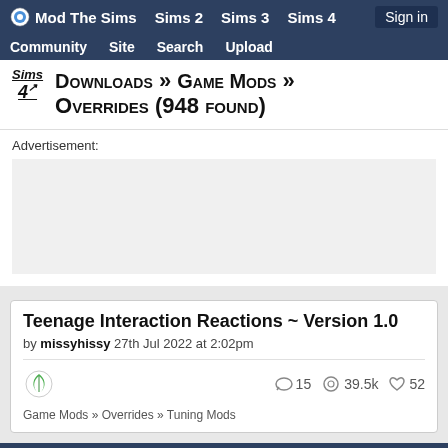Mod The Sims | Sims 2 | Sims 3 | Sims 4 | Sign in | Community | Site | Search | Upload
Sims 4 Downloads » Game Mods » Overrides (948 found)
Advertisement:
Teenage Interaction Reactions ~ Version 1.0
by missyhissy 27th Jul 2022 at 2:02pm
15  39.5k  52
Game Mods » Overrides » Tuning Mods
Featured Downloads
🏆 See more Featured